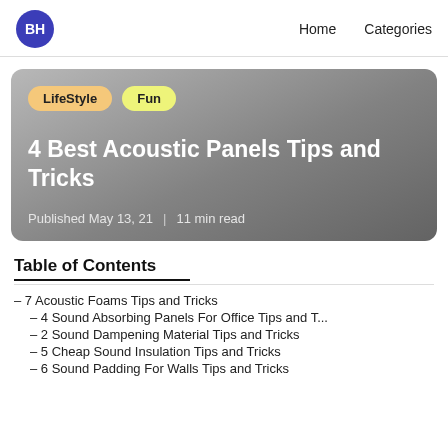BH  Home  Categories
[Figure (screenshot): Hero card with gradient gray background showing tags LifeStyle and Fun, article title '4 Best Acoustic Panels Tips and Tricks', and metadata 'Published May 13, 21 | 11 min read']
Table of Contents
– 7 Acoustic Foams Tips and Tricks
– 4 Sound Absorbing Panels For Office Tips and T...
– 2 Sound Dampening Material Tips and Tricks
– 5 Cheap Sound Insulation Tips and Tricks
– 6 Sound Padding For Walls Tips and Tricks